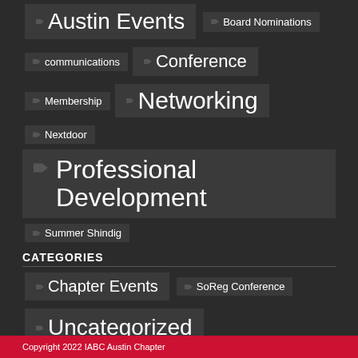Austin Events
Board Nominations
communications
Conference
Membership
Networking
Nextdoor
Professional Development
Summer Shindig
CATEGORIES
Chapter Events
SoReg Conference
Uncategorized
Copyright 2022 IABC Austin Chapter